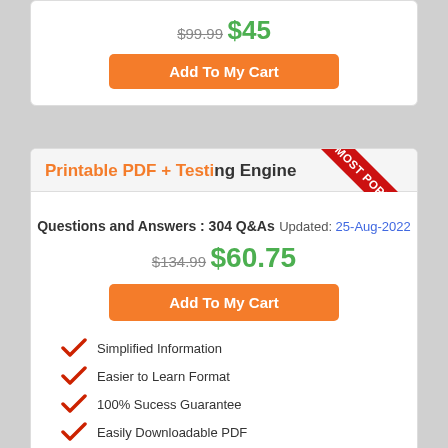$99.99
$45
Add To My Cart
Printable PDF + Testing Engine
Questions and Answers : 304 Q&As
Updated: 25-Aug-2022
$134.99
$60.75
Add To My Cart
Simplified Information
Easier to Learn Format
100% Sucess Guarantee
Easily Downloadable PDF
24/7 Customers Support